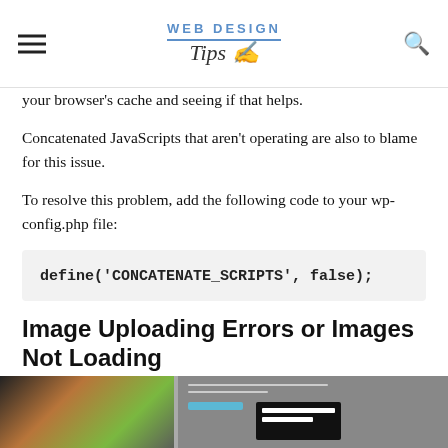WEB DESIGN Tips
your browser's cache and seeing if that helps.
Concatenated JavaScripts that aren't operating are also to blame for this issue.
To resolve this problem, add the following code to your wp-config.php file:
Image Uploading Errors or Images Not Loading
[Figure (screenshot): Screenshot showing image uploading errors illustration with a browser window]